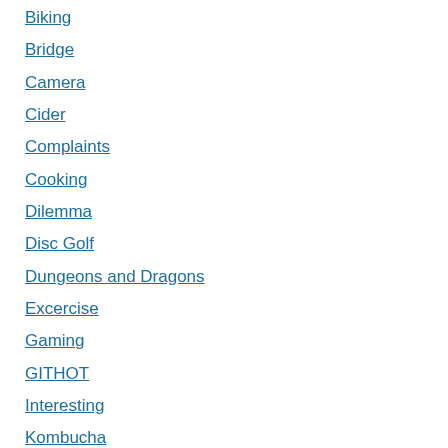Biking
Bridge
Camera
Cider
Complaints
Cooking
Dilemma
Disc Golf
Dungeons and Dragons
Excercise
Gaming
GITHOT
Interesting
Kombucha
Lone Star Game Fest
Lunch for a couple of days
Lunch Time Tichuers
Movies